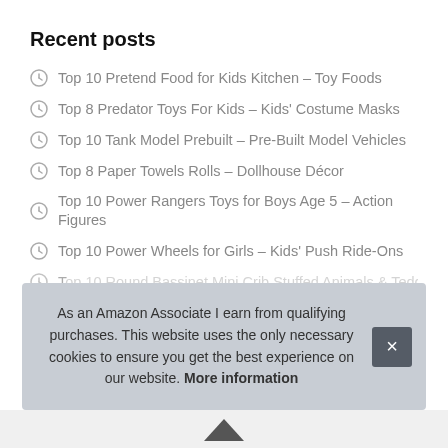Recent posts
Top 10 Pretend Food for Kids Kitchen – Toy Foods
Top 8 Predator Toys For Kids – Kids' Costume Masks
Top 10 Tank Model Prebuilt – Pre-Built Model Vehicles
Top 8 Paper Towels Rolls – Dollhouse Décor
Top 10 Power Rangers Toys for Boys Age 5 – Action Figures
Top 10 Power Wheels for Girls – Kids' Push Ride-Ons
Top 10 Round Bassinet Mini Crib Stuffed Animals & Teddy B…
T…
As an Amazon Associate I earn from qualifying purchases. This website uses the only necessary cookies to ensure you get the best experience on our website. More information